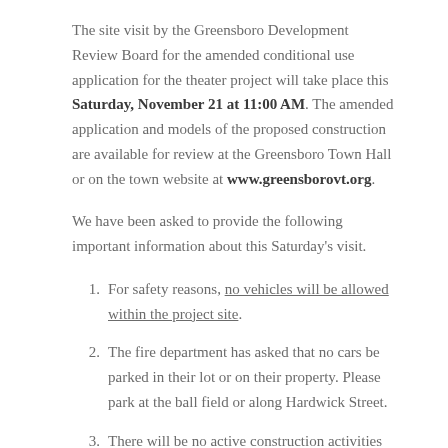The site visit by the Greensboro Development Review Board for the amended conditional use application for the theater project will take place this Saturday, November 21 at 11:00 AM. The amended application and models of the proposed construction are available for review at the Greensboro Town Hall or on the town website at www.greensborovt.org.
We have been asked to provide the following important information about this Saturday's visit.
For safety reasons, no vehicles will be allowed within the project site.
The fire department has asked that no cars be parked in their lot or on their property. Please park at the ball field or along Hardwick Street.
There will be no active construction activities on